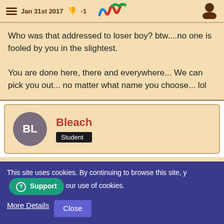Jan 31st 2017  👎 -1
Who was that addressed to loser boy? btw....no one is fooled by you in the slightest.

You are done here, there and everywhere... We can pick you out... no matter what name you choose... lol
Bleach
Student
Jan 31st 2017  👎 -1
How easy was that? 😆 Thanks for proving the point I was trying to make so sweetly. Later on this thread lol
This site uses cookies. By continuing to browse this site, you are agreeing to our use of cookies.